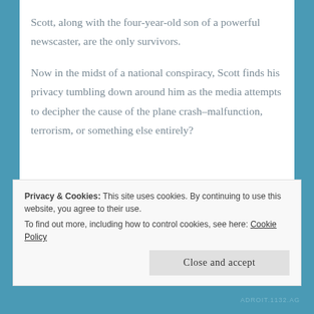Scott, along with the four-year-old son of a powerful newscaster, are the only survivors.
Now in the midst of a national conspiracy, Scott finds his privacy tumbling down around him as the media attempts to decipher the cause of the plane crash–malfunction, terrorism, or something else entirely?
Privacy & Cookies: This site uses cookies. By continuing to use this website, you agree to their use.
To find out more, including how to control cookies, see here: Cookie Policy
ADROIT.1132.AG